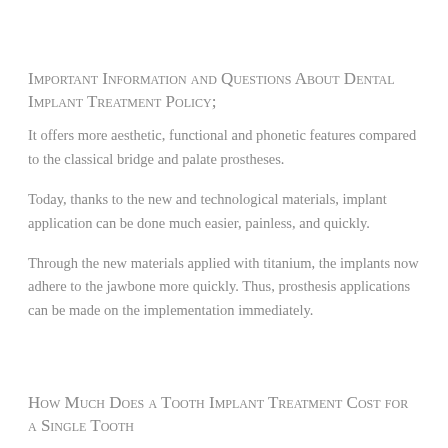Important Information and Questions About Dental Implant Treatment Policy;
It offers more aesthetic, functional and phonetic features compared to the classical bridge and palate prostheses.
Today, thanks to the new and technological materials, implant application can be done much easier, painless, and quickly.
Through the new materials applied with titanium, the implants now adhere to the jawbone more quickly. Thus, prosthesis applications can be made on the implementation immediately.
How Much Does a Tooth Implant Treatment Cost for a Single Tooth